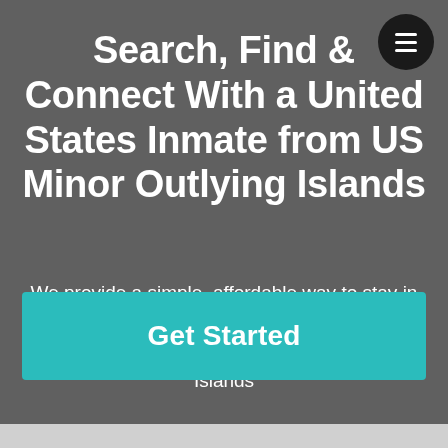Search, Find & Connect With a United States Inmate from US Minor Outlying Islands
We provide a simple, affordable way to stay in touch with your inmate from any phone, tablet, or computer. Now supporting US Minor Outlying Islands
Get Started